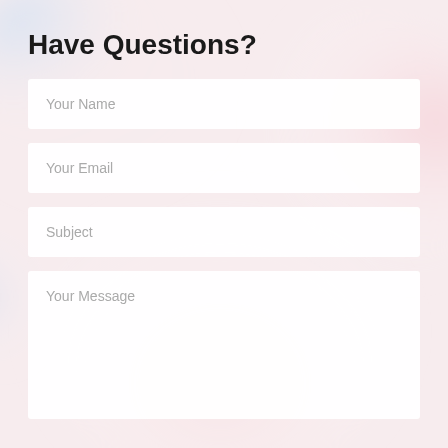Have Questions?
Your Name
Your Email
Subject
Your Message